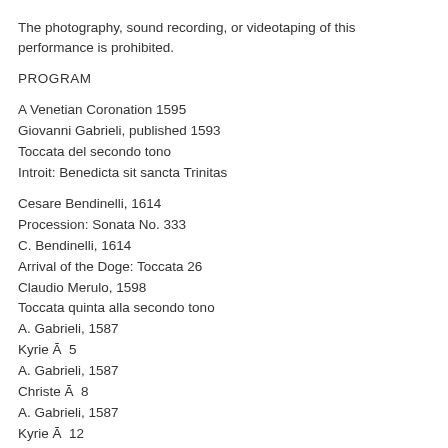The photography, sound recording, or videotaping of this performance is prohibited.
PROGRAM
A Venetian Coronation 1595
Giovanni Gabrieli, published 1593
Toccata del secondo tono
Introit: Benedicta sit sancta Trinitas
Cesare Bendinelli, 1614
Procession: Sonata No. 333
C. Bendinelli, 1614
Arrival of the Doge: Toccata 26
Claudio Merulo, 1598
Toccata quinta alla secondo tono
A. Gabrieli, 1587
Kyrie Ā  5
A. Gabrieli, 1587
Christe Ā  8
A. Gabrieli, 1587
Kyrie Ā  12
A. Gabrieli, 1587
Gloria Ā  16
Collect